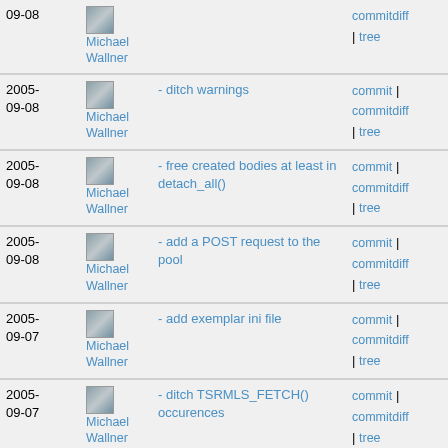| Date | Author | Message | Links |
| --- | --- | --- | --- |
| 2005-09-08 | Michael Wallner |  | commitdiff | tree |
| 2005-09-08 | Michael Wallner | - ditch warnings | commit | commitdiff | tree |
| 2005-09-08 | Michael Wallner | - free created bodies at least in detach_all() | commit | commitdiff | tree |
| 2005-09-08 | Michael Wallner | - add a POST request to the pool | commit | commitdiff | tree |
| 2005-09-07 | Michael Wallner | - add exemplar ini file | commit | commitdiff | tree |
| 2005-09-07 | Michael Wallner | - ditch TSRMLS_FETCH() occurences | commit | commitdiff | tree |
| 2005-09-07 | Michael Wallner | - improve logging format | commit | commitdiff | tree |